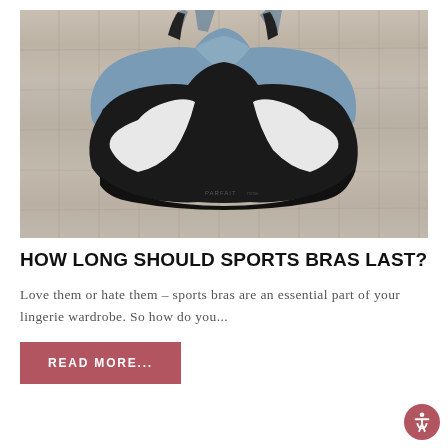[Figure (photo): Two sports bras (one grey/blue, one black and white) laid flat on a light wood floor, photographed from above.]
HOW LONG SHOULD SPORTS BRAS LAST?
Love them or hate them – sports bras are an essential part of your lingerie wardrobe. So how do you...
READ MORE...